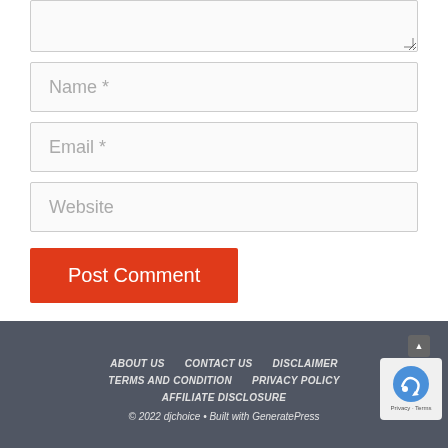[Figure (screenshot): Textarea input box (comment field, partially visible, with resize handle)]
Name *
Email *
Website
Post Comment
ABOUT US   CONTACT US   DISCLAIMER   TERMS AND CONDITION   PRIVACY POLICY   AFFILIATE DISCLOSURE   © 2022 djchoice • Built with GeneratePress